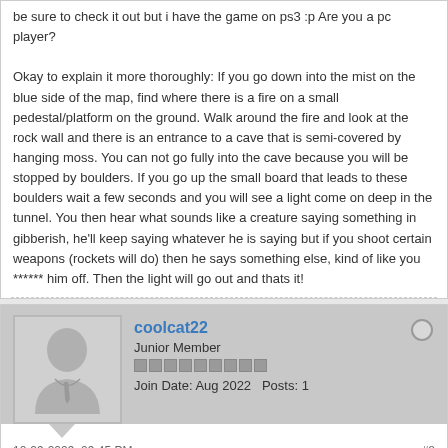be sure to check it out but i have the game on ps3 :p Are you a pc player? Okay to explain it more thoroughly: If you go down into the mist on the blue side of the map, find where there is a fire on a small pedestal/platform on the ground. Walk around the fire and look at the rock wall and there is an entrance to a cave that is semi-covered by hanging moss. You can not go fully into the cave because you will be stopped by boulders. If you go up the small board that leads to these boulders wait a few seconds and you will see a light come on deep in the tunnel. You then hear what sounds like a creature saying something in gibberish, he'll keep saying whatever he is saying but if you shoot certain weapons (rockets will do) then he says something else, kind of like you ****** him off. Then the light will go out and thats it!
coolcat22
Junior Member
Join Date: Aug 2022  Posts: 1
10-29-2009, 09:45 PM
#8
here is the video http://www.xfire.com/video/17882a/
that is nali from ut99 if not
i dont no what it is